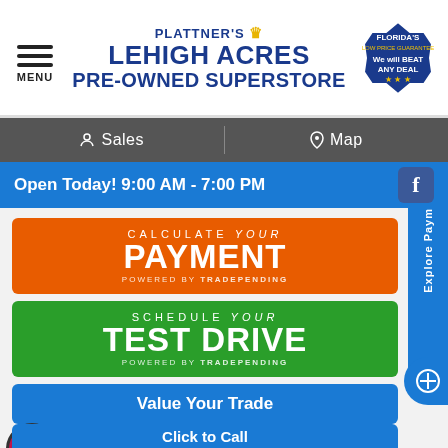PLATTNER'S LEHIGH ACRES PRE-OWNED SUPERSTORE
Sales | Map
Open Today! 9:00 AM - 7:00 PM
[Figure (infographic): Orange banner: CALCULATE YOUR PAYMENT powered by TRADEPENDING]
[Figure (infographic): Green banner: SCHEDULE YOUR TEST DRIVE powered by TRADEPENDING]
[Figure (infographic): Blue banner: Value Your Trade]
[Figure (infographic): Dark banner: Get Pre-Approved with checkmark circle]
Value Your Trade (tooltip bubble)
Click to Call (partial banner at bottom)